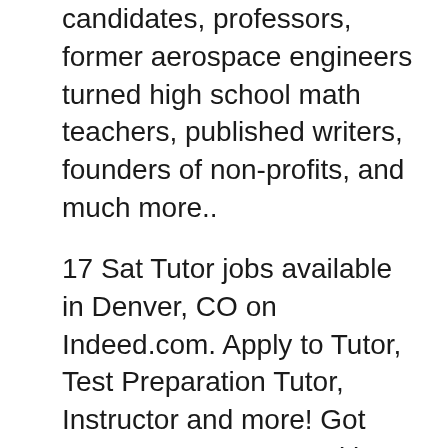candidates, professors, former aerospace engineers turned high school math teachers, published writers, founders of non-profits, and much more..
17 Sat Tutor jobs available in Denver, CO on Indeed.com. Apply to Tutor, Test Preparation Tutor, Instructor and more! Got great test scores? Looking for a great part-time job? The Princeton Review is now hiring teachers and tutors for all subjects, all across the country. So if youвЂ™re motivated, energetic and interested in making a positive impact on the lives of students, we have the perfect job for you. Apply Now...